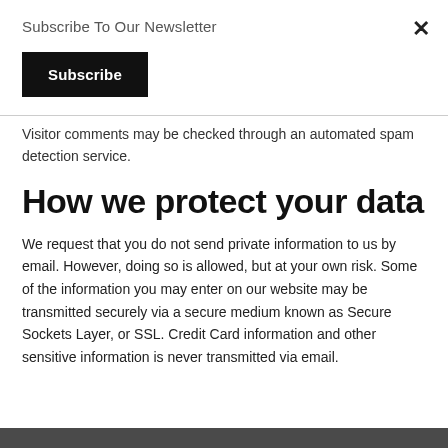Subscribe To Our Newsletter
×
Subscribe
Visitor comments may be checked through an automated spam detection service.
How we protect your data
We request that you do not send private information to us by email. However, doing so is allowed, but at your own risk. Some of the information you may enter on our website may be transmitted securely via a secure medium known as Secure Sockets Layer, or SSL. Credit Card information and other sensitive information is never transmitted via email.